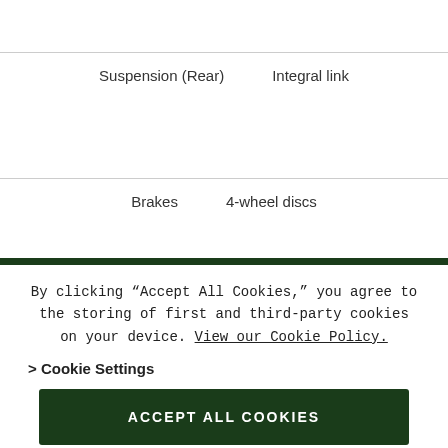| Suspension (Rear) | Integral link |
| Brakes | 4-wheel discs |
By clicking “Accept All Cookies,” you agree to the storing of first and third-party cookies on your device. View our Cookie Policy.
> Cookie Settings
ACCEPT ALL COOKIES